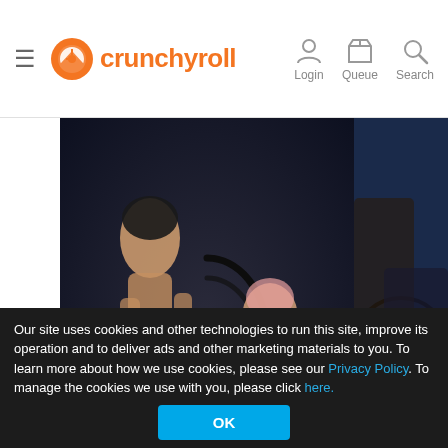crunchyroll — Login | Queue | Search
[Figure (illustration): Jujutsu Kaisen anime promotional art showing two characters fighting with a large black swirl cursed energy mark, with the title 'Jujutsu Kaisen' displayed at the bottom]
Winner: JUJU...
Our site uses cookies and other technologies to run this site, improve its operation and to deliver ads and other marketing materials to you. To learn more about how we use cookies, please see our Privacy Policy. To manage the cookies we use with you, please click here.
OK